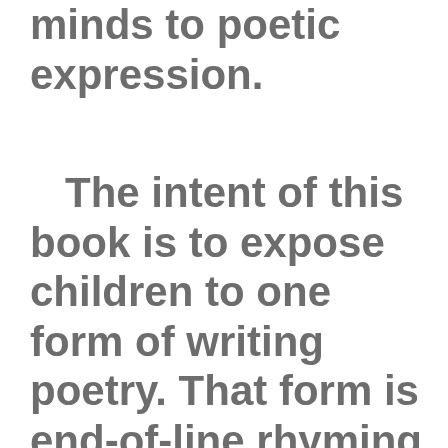minds to poetic expression.
The intent of this book is to expose children to one form of writing poetry. That form is end-of-line rhyming poetry. Without question